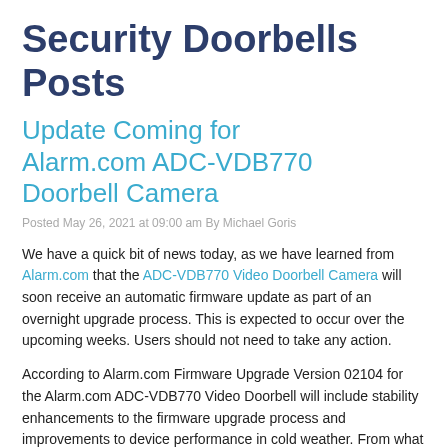Security Doorbells Posts
Update Coming for Alarm.com ADC-VDB770 Doorbell Camera
Posted May 26, 2021 at 09:00 am By Michael Goris
We have a quick bit of news today, as we have learned from Alarm.com that the ADC-VDB770 Video Doorbell Camera will soon receive an automatic firmware update as part of an overnight upgrade process. This is expected to occur over the upcoming weeks. Users should not need to take any action.
According to Alarm.com Firmware Upgrade Version 02104 for the Alarm.com ADC-VDB770 Video Doorbell will include stability enhancements to the firmware upgrade process and improvements to device performance in cold weather. From what we can tell, the